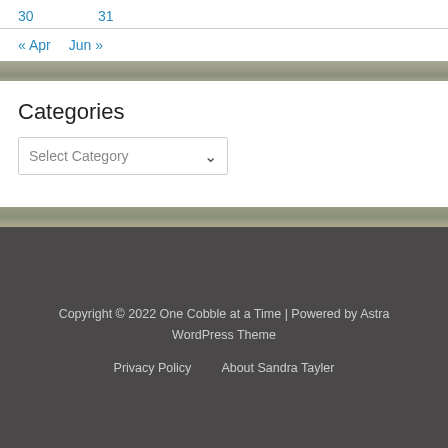30   31
« Apr   Jun »
Categories
Select Category
Copyright © 2022 One Cobble at a Time | Powered by Astra WordPress Theme
Privacy Policy   About Sandra Tayler